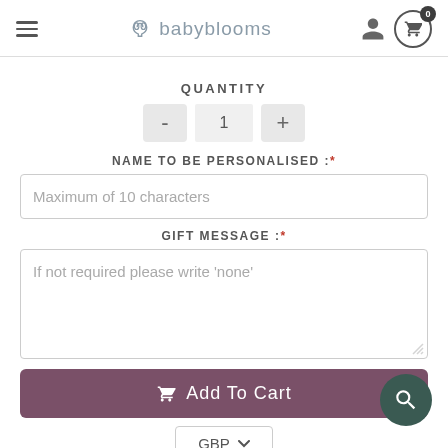babyblooms — navigation header with hamburger menu, logo, user icon, and cart (0)
QUANTITY
- 1 +
NAME TO BE PERSONALISED :*
Maximum of 10 characters
GIFT MESSAGE :*
If not required please write 'none'
Add To Cart
GBP ▼